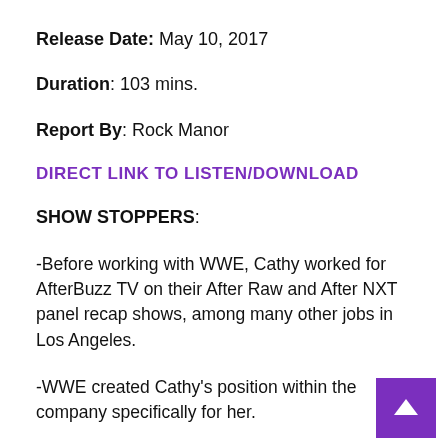Release Date: May 10, 2017
Duration: 103 mins.
Report By: Rock Manor
DIRECT LINK TO LISTEN/DOWNLOAD
SHOW STOPPERS:
-Before working with WWE, Cathy worked for AfterBuzz TV on their After Raw and After NXT panel recap shows, among many other jobs in Los Angeles.
-WWE created Cathy's position within the company specifically for her.
-Cathy's earliest memory of wrestling is A.J. Lee as General Manager (Summer 2012).
-Charlotte (with Ric Flair) vs. Natalya (with Bret Hart)...